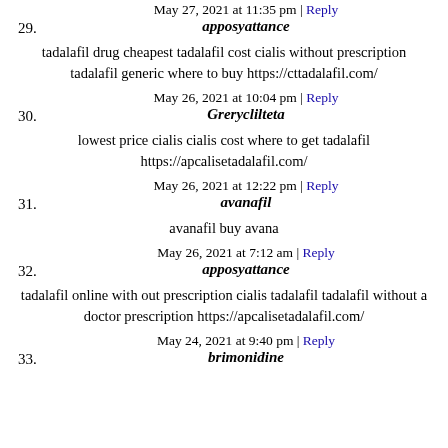May 27, 2021 at 11:35 pm | Reply
29. apposyattance
tadalafil drug cheapest tadalafil cost cialis without prescription tadalafil generic where to buy https://cttadalafil.com/
May 26, 2021 at 10:04 pm | Reply
30. Greryclilteta
lowest price cialis cialis cost where to get tadalafil https://apcalisetadalafil.com/
May 26, 2021 at 12:22 pm | Reply
31. avanafil
avanafil buy avana
May 26, 2021 at 7:12 am | Reply
32. apposyattance
tadalafil online with out prescription cialis tadalafil tadalafil without a doctor prescription https://apcalisetadalafil.com/
May 24, 2021 at 9:40 pm | Reply
33. brimonidine